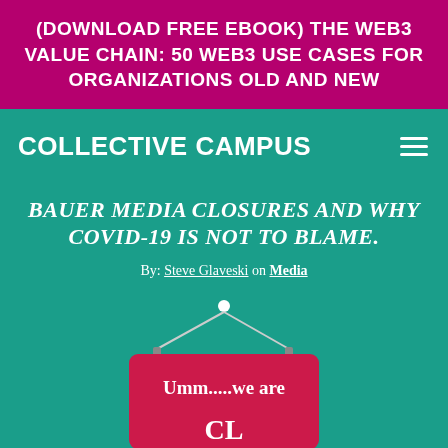(DOWNLOAD FREE EBOOK) THE WEB3 VALUE CHAIN: 50 WEB3 USE CASES FOR ORGANIZATIONS OLD AND NEW
COLLECTIVE CAMPUS
BAUER MEDIA CLOSURES AND WHY COVID-19 IS NOT TO BLAME.
By: Steve Glaveski on Media
[Figure (illustration): A red hanging sign partially visible at the bottom reading 'Umm.....we are' with the rest cut off, hung from a white dot at top with angled strings and small clips]